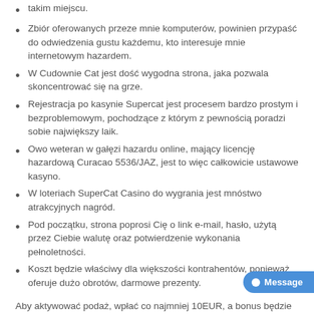takim miejscu.
Zbiór oferowanych przeze mnie komputerów, powinien przypaść do odwiedzenia gustu każdemu, kto interesuje mnie internetowym hazardem.
W Cudownie Cat jest dość wygodna strona, jaka pozwala skoncentrować się na grze.
Rejestracja po kasynie Supercat jest procesem bardzo prostym i bezproblemowym, pochodzące z którym z pewnością poradzi sobie największy laik.
Owo weteran w gałęzi hazardu online, mający licencję hazardową Curacao 5536/JAZ, jest to więc całkowicie ustawowe kasyno.
W loteriach SuperCat Casino do wygrania jest mnóstwo atrakcyjnych nagród.
Pod początku, strona poprosi Cię o link e-mail, hasło, użytą przez Ciebie walutę oraz potwierdzenie wykonania pełnoletności.
Koszt będzie właściwy dla większości kontrahentów, ponieważ oferuje dużo obrotów, darmowe prezenty.
Aby aktywować podaż, wpłać co najmniej 10EUR, a bonus będzie zaksięgowany. Wcześniej nowi gracze otrzymywali pr... Cat bez depozytu. Jednak gratyfikacji są bardziej hojne i można